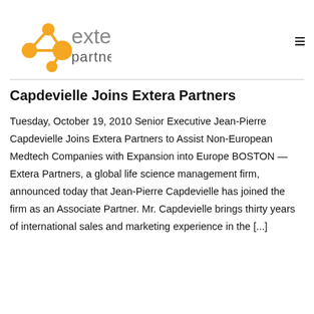[Figure (logo): Extera Partners logo: orange network/molecule icon with connected nodes, beside gray text 'extera partners']
Capdevielle Joins Extera Partners
Tuesday, October 19, 2010 Senior Executive Jean-Pierre Capdevielle Joins Extera Partners to Assist Non-European Medtech Companies with Expansion into Europe BOSTON — Extera Partners, a global life science management firm, announced today that Jean-Pierre Capdevielle has joined the firm as an Associate Partner. Mr. Capdevielle brings thirty years of international sales and marketing experience in the [...]